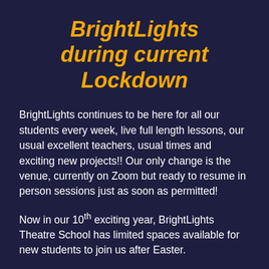BrightLights during current Lockdown
BrightLights continues to be here for all our students every week, live full length lessons, our usual excellent teachers, usual times and exciting new projects!! Our only change is the venue, currently on Zoom but ready to resume in person sessions just as soon as permitted!
Now in our 10th exciting year, BrightLights Theatre School has limited spaces available for new students to join us after Easter.